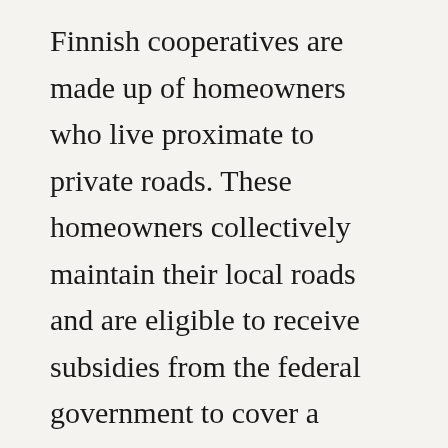Finnish cooperatives are made up of homeowners who live proximate to private roads. These homeowners collectively maintain their local roads and are eligible to receive subsidies from the federal government to cover a portion of their expenses.
The Finnish government determines the subsidy amount based on the amount of traffic that a road bears and the number of houses it serves. The geographic location and average income of the area also figure into its considerations. The shift in road...